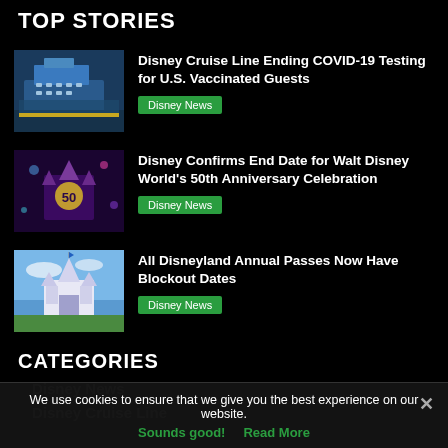TOP STORIES
Disney Cruise Line Ending COVID-19 Testing for U.S. Vaccinated Guests
Disney News
Disney Confirms End Date for Walt Disney World's 50th Anniversary Celebration
Disney News
All Disneyland Annual Passes Now Have Blockout Dates
Disney News
CATEGORIES
Disney News
Disney Cruise Line
We use cookies to ensure that we give you the best experience on our website. Sounds good! Read More